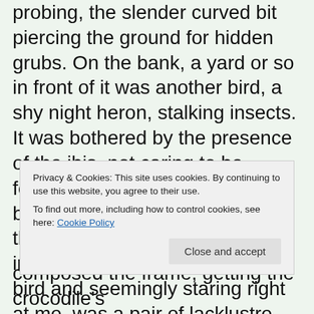probing, the slender curved bit piercing the ground for hidden grubs. On the bank, a yard or so in front of it was another bird, a shy night heron, stalking insects. It was bothered by the presence of the ibis, not caring to be followed. I picked up the binoculars for a better look at them and suddenly realised that in my sights, between bird and bird and seemingly staring right at me, was a pair of lacklustre reptilian eyes. The crocodile! It was moored right at the water's edge and I wondered how long it
Privacy & Cookies: This site uses cookies. By continuing to use this website, you agree to their use.
To find out more, including how to control cookies, see here: Cookie Policy
Close and accept
composed the frame, getting the crocodile's